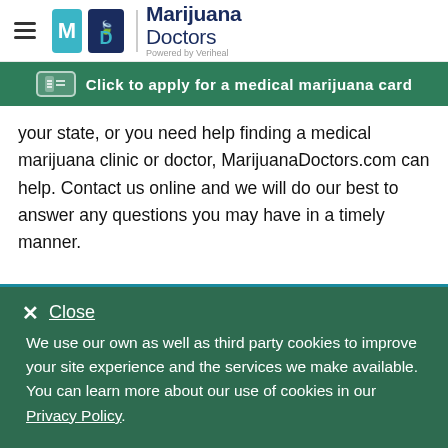Marijuana Doctors — Powered by Veriheal
Click to apply for a medical marijuana card
your state, or you need help finding a medical marijuana clinic or doctor, MarijuanaDoctors.com can help. Contact us online and we will do our best to answer any questions you may have in a timely manner.
Doctors Near You
We use our own as well as third party cookies to improve your site experience and the services we make available. You can learn more about our use of cookies in our Privacy Policy.